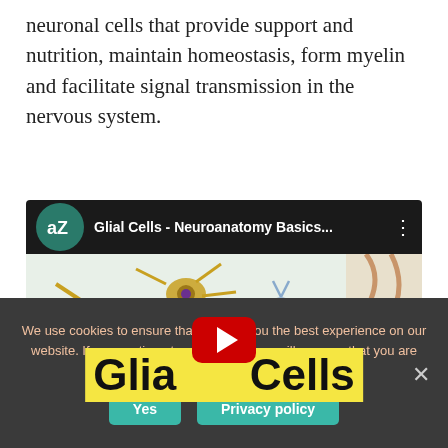neuronal cells that provide support and nutrition, maintain homeostasis, form myelin and facilitate signal transmission in the nervous system.
[Figure (screenshot): YouTube video thumbnail for 'Glial Cells - Neuroanatomy Basics...' showing colorful illustrations of different glial cell types with a YouTube play button overlay. The video is from the 'aZ' channel.]
We use cookies to ensure that we give you the best experience on our website. If you continue to use this site we will assume that you are happy with it.